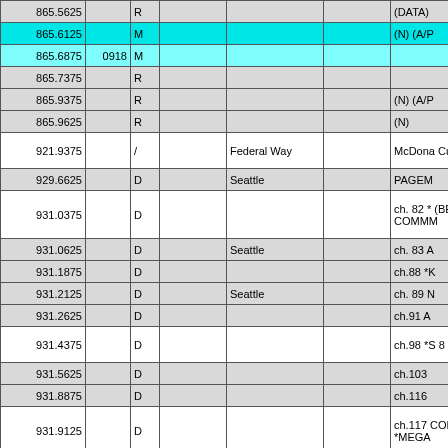| Frequency | Code | Type | Tone | City | Extra | Notes |
| --- | --- | --- | --- | --- | --- | --- |
| 865.5625 |  | R |  |  |  | (DATA) |
| 865.6125 |  | M |  |  |  | (N) (A/P |
| 865.6875 | 0918 | M |  |  |  |  |
| 865.7375 |  | R |  |  |  |  |
| 865.9375 |  | R |  |  |  | (N) (A/P |
| 865.9625 |  | R |  |  |  | (N) |
| 921.9375 |  | / |  | Federal Way |  | McDona Custom |
| 929.6625 |  | D |  | Seattle |  | PAGEM |
| 931.0375 |  | D |  |  |  | ch. 82 * (BELLE COMMM |
| 931.0625 |  | D |  | Seattle |  | ch. 83 A |
| 931.1875 |  | D |  |  |  | ch.88 *K |
| 931.2125 |  | D |  | Seattle |  | ch. 89 N |
| 931.2625 |  | D |  |  |  | ch.91 A |
| 931.4375 |  | D |  |  |  | ch.98 *S 8 |
| 931.5625 |  | D |  |  |  | ch.103 |
| 931.8875 |  | D |  |  |  | ch.116 |
| 931.9125 |  | D |  |  |  | ch.117 COMMM *MEGA |
| 935.150 |  |  |  | Seattle |  | *SECU WNSK6 |